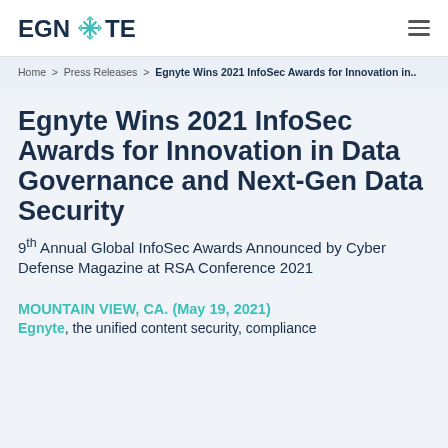EGNYTE
Home > Press Releases > Egnyte Wins 2021 InfoSec Awards for Innovation in..
Egnyte Wins 2021 InfoSec Awards for Innovation in Data Governance and Next-Gen Data Security
9th Annual Global InfoSec Awards Announced by Cyber Defense Magazine at RSA Conference 2021
MOUNTAIN VIEW, CA. (May 19, 2021)
Egnyte, the unified content security, compliance